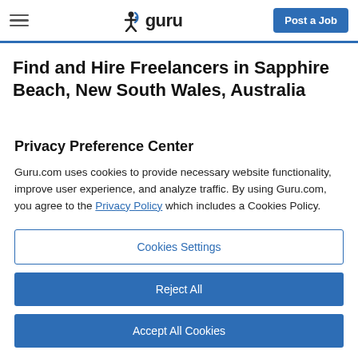guru — Post a Job
Find and Hire Freelancers in Sapphire Beach, New South Wales, Australia
Privacy Preference Center
Guru.com uses cookies to provide necessary website functionality, improve user experience, and analyze traffic. By using Guru.com, you agree to the Privacy Policy which includes a Cookies Policy.
Cookies Settings
Reject All
Accept All Cookies